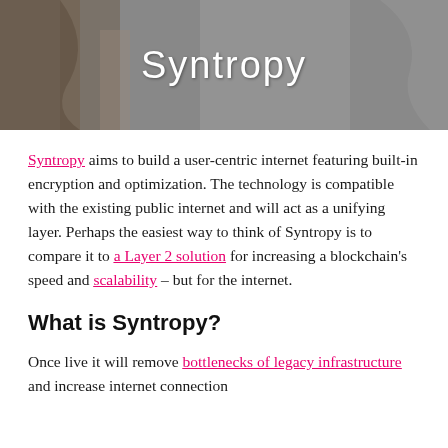[Figure (illustration): Hero banner with waterfall/nature background image in grayscale with 'Syntropy' text in white handwritten-style font centered on the image.]
Syntropy aims to build a user-centric internet featuring built-in encryption and optimization. The technology is compatible with the existing public internet and will act as a unifying layer. Perhaps the easiest way to think of Syntropy is to compare it to a Layer 2 solution for increasing a blockchain's speed and scalability – but for the internet.
What is Syntropy?
Once live it will remove bottlenecks of legacy infrastructure and increase internet connection